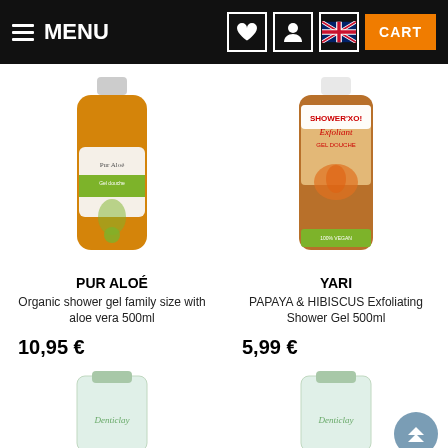MENU | CART
[Figure (photo): Bottle of Pur Aloé organic shower gel with aloe vera, amber/orange colored liquid, 500ml]
PUR ALOÉ
Organic shower gel family size with aloe vera 500ml
10,95 €
[Figure (photo): Bottle of Yari PAPAYA & HIBISCUS Exfoliating Shower Gel 500ml, amber/brown textured gel]
YARI
PAPAYA & HIBISCUS Exfoliating Shower Gel 500ml
5,99 €
[Figure (photo): Denticlay product tube, green/white coloring]
[Figure (photo): Denticlay product tube, green/white coloring]